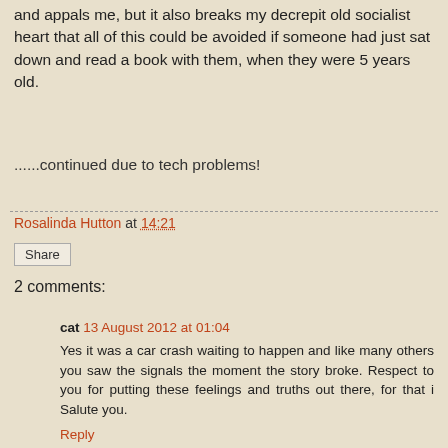and appals me, but it also breaks my decrepit old socialist heart that all of this could be avoided if someone had just sat down and read a book with them, when they were 5 years old.
......continued due to tech problems!
Rosalinda Hutton at 14:21
Share
2 comments:
cat 13 August 2012 at 01:04
Yes it was a car crash waiting to happen and like many others you saw the signals the moment the story broke. Respect to you for putting these feelings and truths out there, for that i Salute you.
Reply